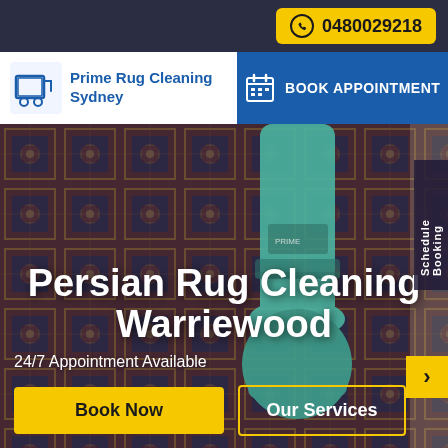0480029218
[Figure (logo): Prime Rug Cleaning Sydney logo with blue truck/rug icon]
BOOK APPOINTMENT
Persian Rug Cleaning Warriewood
24/7 Appointment Available
Book Now
Our Services
Schedule Booking